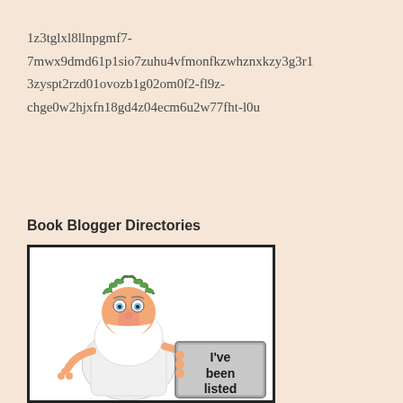1z3tglxl8llnpgmf7-7mwx9dmd61p1sio7zuhu4vfmonfkzwhznxkzy3g3r13zyspt2rzd01ovozb1g02om0f2-fl9z-chge0w2hjxfn18gd4z04ecm6u2w77fht-l0u
Book Blogger Directories
[Figure (illustration): Cartoon illustration of a bearded old man (Zeus-like figure) in a white toga with a laurel wreath, holding a stone tablet that reads 'I've been listed']